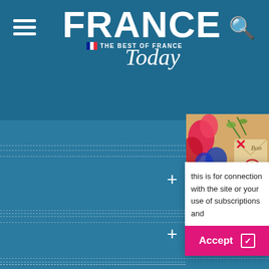[Figure (screenshot): France Today website screenshot showing the header with logo, hamburger menu, search icon, a navigation menu with expandable sections (plus signs), and a cookie consent popup overlay with Accept button.]
FRANCE Today — THE BEST OF FRANCE
this is for connection with the site or your use of subscriptions and
Accept